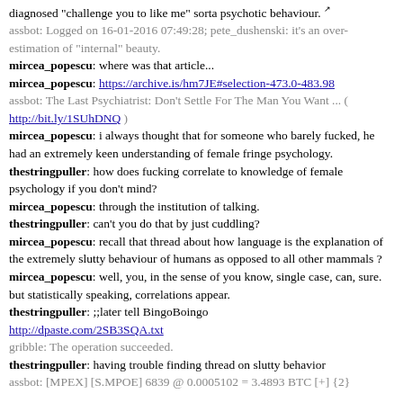diagnosed "challenge you to like me" sorta psychotic behaviour.
assbot: Logged on 16-01-2016 07:49:28; pete_dushenski: it's an over-estimation of "internal" beauty.
mircea_popescu: where was that article...
mircea_popescu: https://archive.is/hm7JE#selection-473.0-483.98
assbot: The Last Psychiatrist: Don't Settle For The Man You Want ... ( http://bit.ly/1SUhDNQ )
mircea_popescu: i always thought that for someone who barely fucked, he had an extremely keen understanding of female fringe psychology.
thestringpuller: how does fucking correlate to knowledge of female psychology if you don't mind?
mircea_popescu: through the institution of talking.
thestringpuller: can't you do that by just cuddling?
mircea_popescu: recall that thread about how language is the explanation of the extremely slutty behaviour of humans as opposed to all other mammals ?
mircea_popescu: well, you, in the sense of you know, single case, can, sure. but statistically speaking, correlations appear.
thestringpuller: ;;later tell BingoBoingo http://dpaste.com/2SB3SQA.txt
gribble: The operation succeeded.
thestringpuller: having trouble finding thread on slutty behavior
assbot: [MPEX] [S.MPOE] 6839 @ 0.0005102 = 3.4893 BTC [+] {2}